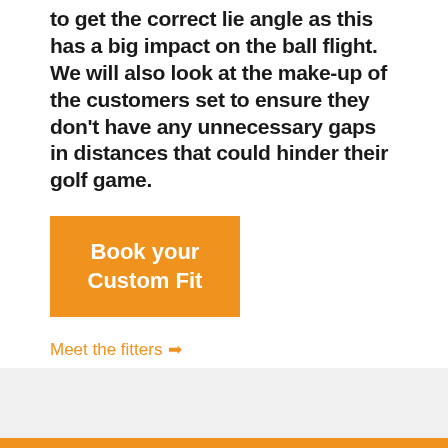to get the correct lie angle as this has a big impact on the ball flight. We will also look at the make-up of the customers set to ensure they don't have any unnecessary gaps in distances that could hinder their golf game.
Book your Custom Fit
Meet the fitters →
What we do →